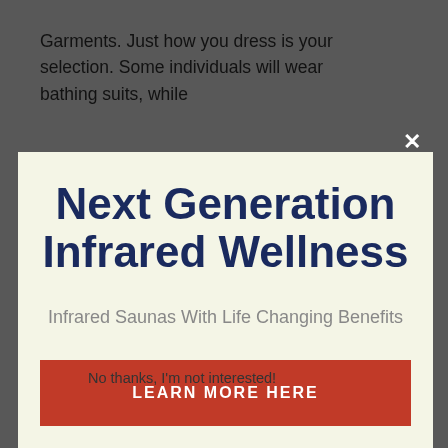Garments. Just how you dress is your selection. Some individuals will wear bathing suits, while
[Figure (screenshot): Modal popup with light cream background containing headline 'Next Generation Infrared Wellness', subtitle 'Infrared Saunas With Life Changing Benefits', and a red button labeled 'LEARN MORE HERE'. A close (X) button is in the upper right corner of the modal.]
certain you are drinking a lot of water.
No thanks, I'm not interested!
Number of sessions per week. A lot of facilities